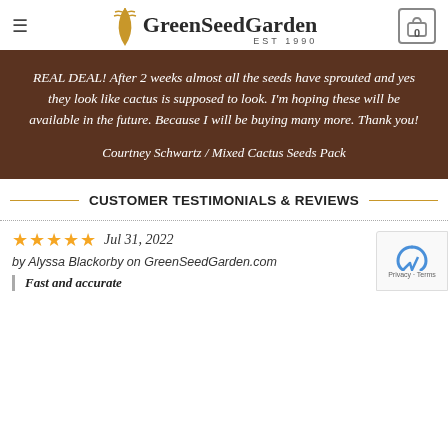GreenSeedGarden EST 1990
REAL DEAL! After 2 weeks almost all the seeds have sprouted and yes they look like cactus is supposed to look. I'm hoping these will be available in the future. Because I will be buying many more. Thank you!
Courtney Schwartz / Mixed Cactus Seeds Pack
CUSTOMER TESTIMONIALS & REVIEWS
Jul 31, 2022
by Alyssa Blackorby on GreenSeedGarden.com
Fast and accurate